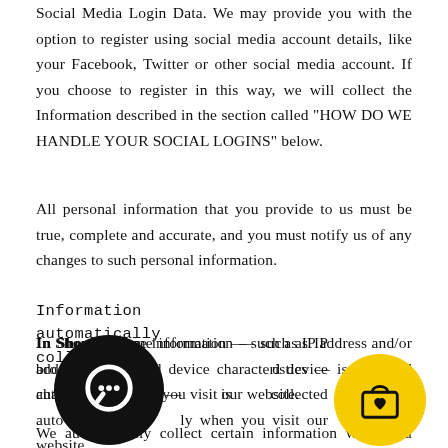Social Media Login Data. We may provide you with the option to register using social media account details, like your Facebook, Twitter or other social media account. If you choose to register in this way, we will collect the Information described in the section called "HOW DO WE HANDLE YOUR SOCIAL LOGINS" below.
All personal information that you provide to us must be true, complete and accurate, and you must notify us of any changes to such personal information.
Information automatically collected
In Short:   Some information — such as IP address and/or browser and device characteristics — is collected automatically when you visit our website.
We automatically collect certain information when you visit,
[Figure (illustration): Black circular chat/message bubble icon]
[Figure (illustration): Yellow circular shopping bag with heart icon]